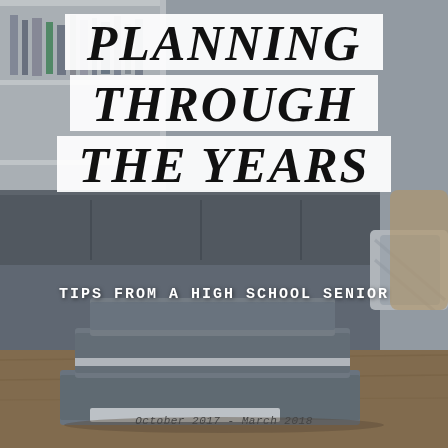[Figure (photo): Background photo of a cozy living room with a dark gray sofa, bookshelves, and stacked gray notebooks/planners on a wooden coffee table. The bottom notebook spine reads 'October 2017 - March 2018'.]
PLANNING THROUGH THE YEARS
TIPS FROM A HIGH SCHOOL SENIOR